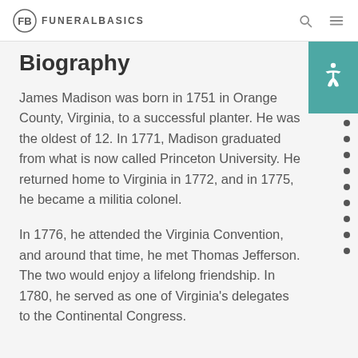FUNERALBASICS
Biography
James Madison was born in 1751 in Orange County, Virginia, to a successful planter. He was the oldest of 12. In 1771, Madison graduated from what is now called Princeton University. He returned home to Virginia in 1772, and in 1775, he became a militia colonel.
In 1776, he attended the Virginia Convention, and around that time, he met Thomas Jefferson. The two would enjoy a lifelong friendship. In 1780, he served as one of Virginia's delegates to the Continental Congress.